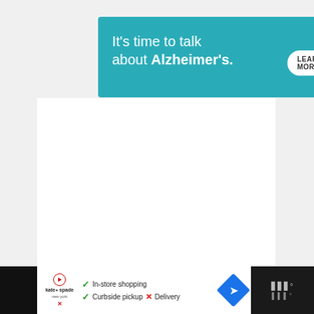[Figure (infographic): Alzheimer's Association advertisement banner with teal background. Text reads: It's time to talk about Alzheimer's. LEARN MORE button. Alzheimer's association logo top right.]
[Figure (infographic): Social interaction sidebar with dark green heart/like button showing count of 7, and a share button below]
7
[Figure (infographic): What's Next widget with thumbnail of autumn landscape. Text: WHAT'S NEXT → The perfect 7 days Korea...]
[Figure (infographic): Bottom advertisement bar: Kate Spade brand logo with play button, features list showing In-store shopping (check), Curbside pickup (check), Delivery (cross X), Google Maps direction icon]